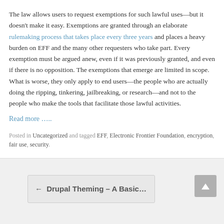The law allows users to request exemptions for such lawful uses—but it doesn't make it easy. Exemptions are granted through an elaborate rulemaking process that takes place every three years and places a heavy burden on EFF and the many other requesters who take part. Every exemption must be argued anew, even if it was previously granted, and even if there is no opposition. The exemptions that emerge are limited in scope. What is worse, they only apply to end users—the people who are actually doing the ripping, tinkering, jailbreaking, or research—and not to the people who make the tools that facilitate those lawful activities.
Read more …..
Posted in Uncategorized and tagged EFF, Electronic Frontier Foundation, encryption, fair use, security.
← Drupal Theming – A Basic...